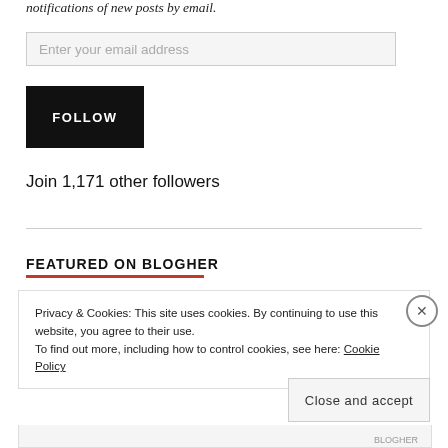notifications of new posts by email.
Enter your email address
FOLLOW
Join 1,171 other followers
FEATURED ON BLOGHER
Privacy & Cookies: This site uses cookies. By continuing to use this website, you agree to their use.
To find out more, including how to control cookies, see here: Cookie Policy
Close and accept